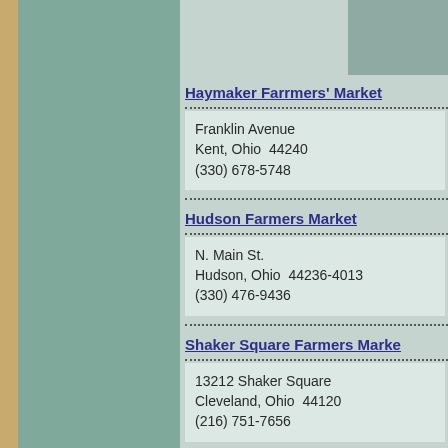Haymaker Farrmers' Market
Franklin Avenue
Kent, Ohio  44240
(330) 678-5748
Hudson Farmers Market
N. Main St.
Hudson, Ohio  44236-4013
(330) 476-9436
Shaker Square Farmers Market
13212 Shaker Square
Cleveland, Ohio  44120
(216) 751-7656